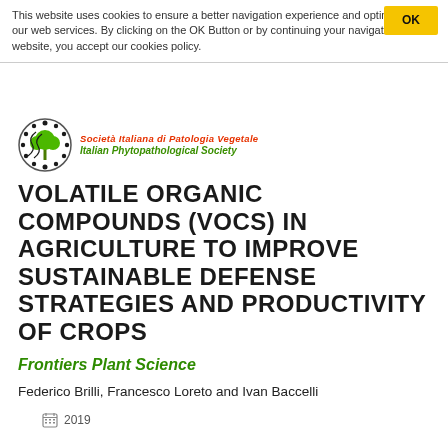This website uses cookies to ensure a better navigation experience and optimization of our web services. By clicking on the OK Button or by continuing your navigation on our website, you accept our cookies policy.
[Figure (logo): Italian Phytopathological Society logo with circular emblem and bilingual text: 'Societa Italiana di Patologia Vegetale' and 'Italian Phytopathological Society']
VOLATILE ORGANIC COMPOUNDS (VOCS) IN AGRICULTURE TO IMPROVE SUSTAINABLE DEFENSE STRATEGIES AND PRODUCTIVITY OF CROPS
Frontiers Plant Science
Federico Brilli, Francesco Loreto and Ivan Baccelli
2019
Details...